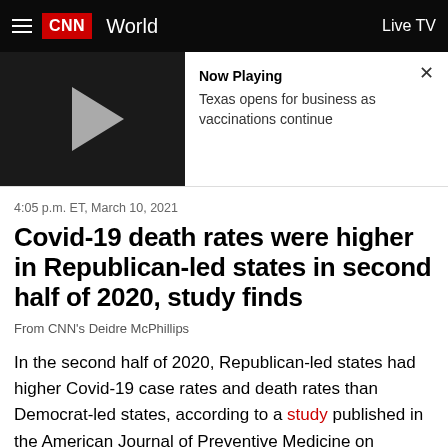CNN World | Live TV
[Figure (screenshot): Video player thumbnail with play button. Now Playing: Texas opens for business as vaccinations continue]
4:05 p.m. ET, March 10, 2021
Covid-19 death rates were higher in Republican-led states in second half of 2020, study finds
From CNN's Deidre McPhillips
In the second half of 2020, Republican-led states had higher Covid-19 case rates and death rates than Democrat-led states, according to a study published in the American Journal of Preventive Medicine on Tuesday.